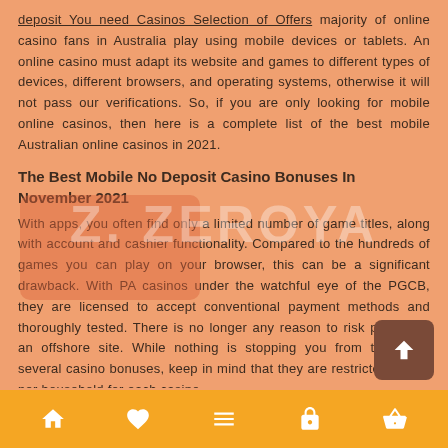deposit You need Casinos Selection of Offers majority of online casino fans in Australia play using mobile devices or tablets. An online casino must adapt its website and games to different types of devices, different browsers, and operating systems, otherwise it will not pass our verifications. So, if you are only looking for mobile online casinos, then here is a complete list of the best mobile Australian online casinos in 2021.
The Best Mobile No Deposit Casino Bonuses In November 2021
With apps, you often find only a limited number of game titles, along with account and cashier functionality. Compared to the hundreds of games you can play on your browser, this can be a significant drawback. With PA casinos under the watchful eye of the PGCB, they are licensed to accept conventional payment methods and thoroughly tested. There is no longer any reason to risk playing at an offshore site. While nothing is stopping you from taking up several casino bonuses, keep in mind that they are restricted to one per household for each casino.